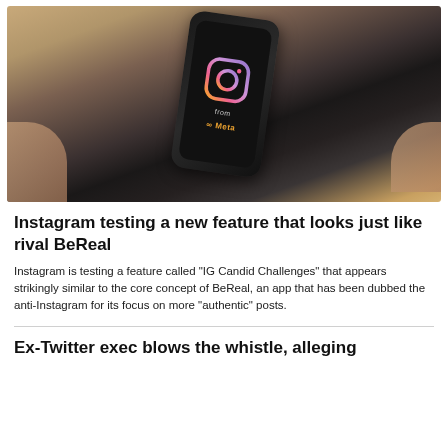[Figure (photo): Person holding a black smartphone displaying the Instagram logo and 'from Meta' text on the screen, photographed from above against a blurred background.]
Instagram testing a new feature that looks just like rival BeReal
Instagram is testing a feature called "IG Candid Challenges" that appears strikingly similar to the core concept of BeReal, an app that has been dubbed the anti-Instagram for its focus on more "authentic" posts.
Ex-Twitter exec blows the whistle, alleging